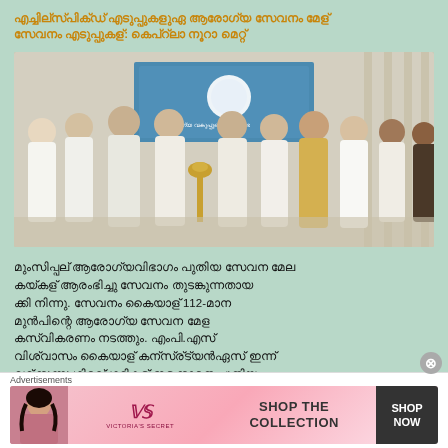[Malayalam headline text in orange/gold color]
[Figure (photo): Group of people in white traditional attire standing around a brass oil lamp (nilavilakku) at an official event, with a blue and white banner/screen in the background.]
[Malayalam body text paragraph with mention of 112-related content]
Advertisements
[Figure (infographic): Victoria's Secret advertisement banner with a model on the left, VS logo in center, 'SHOP THE COLLECTION' text, and a dark 'SHOP NOW' button on the right. Pink gradient background.]